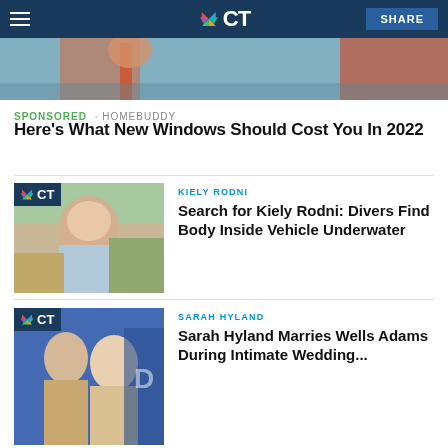NBC CT
[Figure (photo): Top cropped photo showing person on ladder against house siding]
SPONSORED · HOMEBUDDY
Here's What New Windows Should Cost You In 2022
[Figure (photo): Photo of Kiely Rodni, a young woman smiling outdoors]
KIELY RODNI
Search for Kiely Rodni: Divers Find Body Inside Vehicle Underwater
[Figure (photo): Photo of Sarah Hyland and Wells Adams at a Disney event]
SARAH HYLAND
Sarah Hyland Marries Wells Adams During Intimate Wedding...